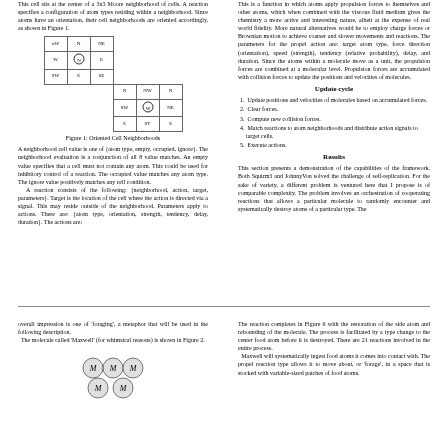This cell sits at the center of a 3x3 Moore neighborhood of cells. A reaction specifies a configuration of atom types residing within a neighborhood. Since atoms have an orientation, their cell neighborhoods are oriented accordingly, as shown in Figure 1.
[Figure (illustration): Grid showing oriented cell neighborhoods with atom types labeled in cells, including a center atom circled.]
Figure 1: Oriented Cell Neighborhoods
A neighborhood cell value is one of {atom type, empty, occupied, ignore}. The neighborhood evaluation is a conjunction of all 8 value matches. An empty value specifies that a cell must not contain any atom. This could be used for inhibitory control of a reaction. The occupied value matches any atom type. The ignore value positively matches any cell condition.
  A reaction consists of the following: {neighborhood, action, target, parameters}. Target is the location of the cell where the action is directed via a signal. This may reside outside of the neighborhood. Parameters apply to actions. There are: {atom type, orientation, strength, tendency, delay, duration}. The actions are:
This is a function in which atoms apply propulsion forces to themselves and other atoms, which when combined with the viscous fluid medium gives the chemistry a more active and interesting nature, albeit at the expense of real world fidelity. More natural alternatives would be to employ charge forces or Brownian motion to achieve coarser and slower movements and reactions. The parameters for the propel action are: target atom type, force direction (orientation), speed (strength), tendency (relative probability), delay, and duration. Since the atoms within a molecule move as a unit, the propulsion forces are combined at a molecular level. Propulsion forces are accumulated with collision forces to update the positions and velocities of molecules.
Update cycle
1. Update positions and velocities of molecules based on accumulated forces.
2. Clear forces.
3. Compute new collision forces.
4. Match reactions to atom neighborhoods and distribute action signals to target cells.
5. Execute actions.
Results
This section presents a demonstration of the capabilities of the framework. Both Squirm3 and JohnnyVon solved the challenge of self-replication. For the sake of variety, a different problem is ventured here that I propose is of comparable complexity. The problem involves an orchestration of cooperating reactions that allows a particular molecule to randomly encounter and systematically destroy atoms of a particular type. The
overall impression is one of 'foraging', a metaphor that will be used in the following description.
  The molecule called 'Maxwell' (for whimsical reasons) is shown in Figure 2.
[Figure (illustration): Molecule diagram showing 5 circular atoms labeled M arranged in a cluster pattern.]
The reaction completes in Figure 6 with the restoration of the side atom and rebounding of the molecule. The process is facilitated by a type change to the center food atom before it is destroyed. There are 21 reactions involved in the entire process.
  Maxwell will systematically ingest food atoms it comes into contact with. The propel reaction type allows it to move about, or 'forage', in a space that is stocked with variable-sized patches of food atoms.